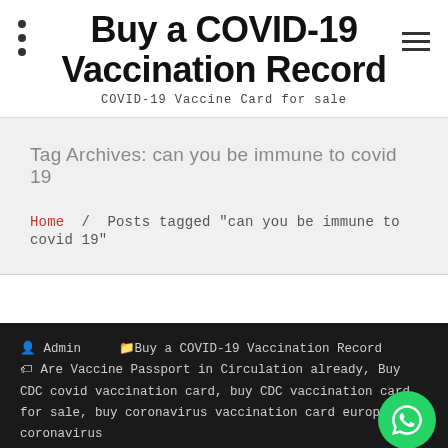Buy a COVID-19 Vaccination Record
COVID-19 Vaccine Card for sale
Tag Archives: can you be immune to covid 19
Home / Posts tagged "can you be immune to covid 19"
Admin   Buy a COVID-19 Vaccination Record   Are Vaccine Passport in Circulation already, Buy CDC covid vaccination card, buy CDC vaccination card for sale, buy coronavirus vaccination card europe, buy coronavirus